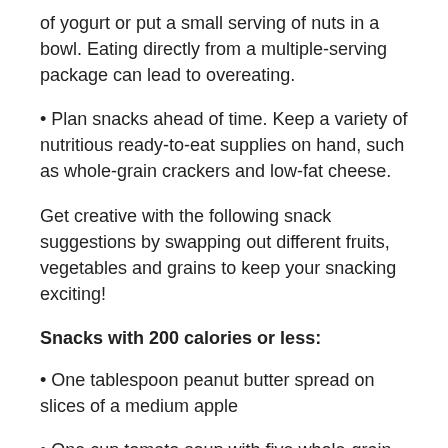of yogurt or put a small serving of nuts in a bowl. Eating directly from a multiple-serving package can lead to overeating.
• Plan snacks ahead of time. Keep a variety of nutritious ready-to-eat supplies on hand, such as whole-grain crackers and low-fat cheese.
Get creative with the following snack suggestions by swapping out different fruits, vegetables and grains to keep your snacking exciting!
Snacks with 200 calories or less:
• One tablespoon peanut butter spread on slices of a medium apple
• One cup tomato soup with five whole-grain crackers